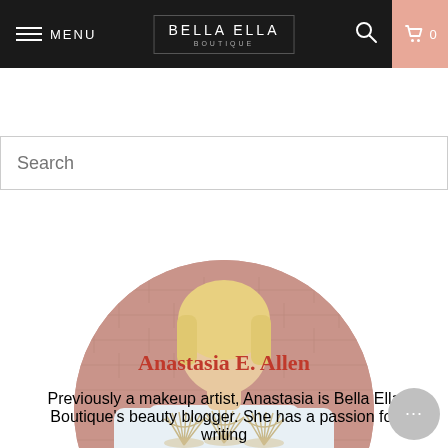MENU | BELLA ELLA BOUTIQUE | 0
Search
[Figure (photo): Circular profile photo of a blonde woman wearing a white crop t-shirt with three scallop shell graphics on it, standing in front of a pink brick wall background]
Anastasia E. Allen
Previously a makeup artist, Anastasia is Bella Ella Boutique's beauty blogger. She has a passion for writing